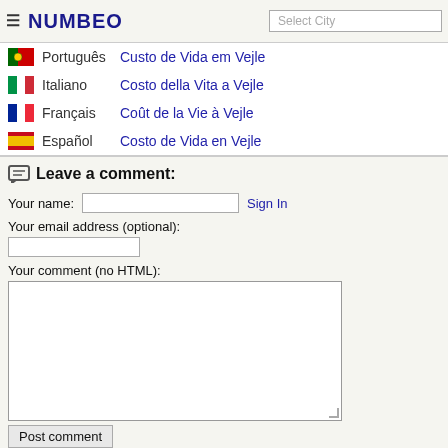NUMBEO — Select City
Português — Custo de Vida em Vejle
Italiano — Costo della Vita a Vejle
Français — Coût de la Vie à Vejle
Español — Costo de Vida en Vejle
Leave a comment:
Your name: [input] Sign In
Your email address (optional): [input]
Your comment (no HTML): [textarea]
Post comment [button]